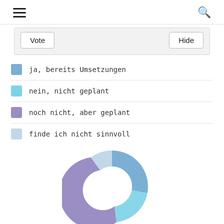≡  🔍
ja, bereits Umsetzungen
nein, nicht geplant
noch nicht, aber geplant
finde ich nicht sinnvoll
[Figure (donut-chart): ]